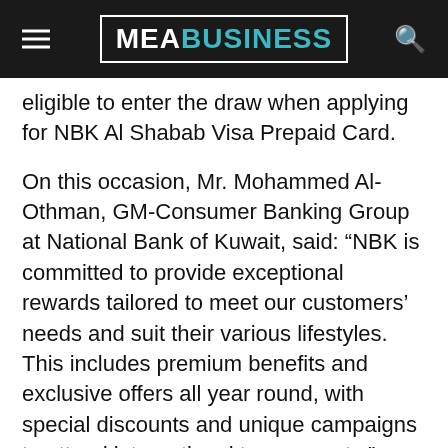MEA BUSINESS
eligible to enter the draw when applying for NBK Al Shabab Visa Prepaid Card.
On this occasion, Mr. Mohammed Al-Othman, GM-Consumer Banking Group at National Bank of Kuwait, said: “NBK is committed to provide exceptional rewards tailored to meet our customers’ needs and suit their various lifestyles. This includes premium benefits and exclusive offers all year round, with special discounts and unique campaigns to attend international tournaments.”
“Partnering with Visa to offer our cardholders exclusive packages to attend